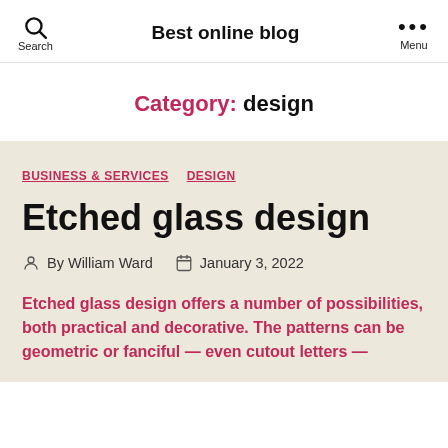Best online blog
Category: design
BUSINESS & SERVICES   DESIGN
Etched glass design
By William Ward   January 3, 2022
Etched glass design offers a number of possibilities, both practical and decorative. The patterns can be geometric or fanciful — even cutout letters —